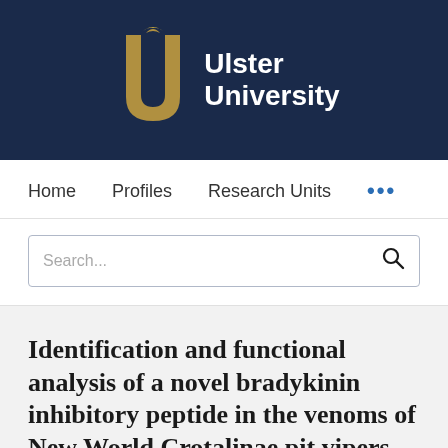[Figure (logo): Ulster University logo on dark navy background — gold stylized U letterform with a bird/leaf motif at top, with white bold text reading 'Ulster University' to the right]
Home   Profiles   Research Units   ...
Search...
Identification and functional analysis of a novel bradykinin inhibitory peptide in the venoms of New World Crotalinae pit vipers